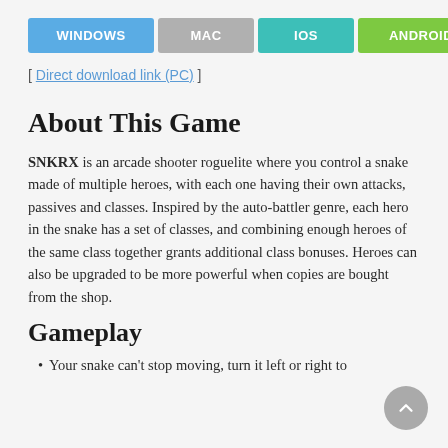[Figure (infographic): Four platform buttons: WINDOWS (blue), MAC (gray), IOS (teal), ANDROID (green)]
[ Direct download link (PC) ]
About This Game
SNKRX is an arcade shooter roguelite where you control a snake made of multiple heroes, with each one having their own attacks, passives and classes. Inspired by the auto-battler genre, each hero in the snake has a set of classes, and combining enough heroes of the same class together grants additional class bonuses. Heroes can also be upgraded to be more powerful when copies are bought from the shop.
Gameplay
Your snake can't stop moving, turn it left or right to